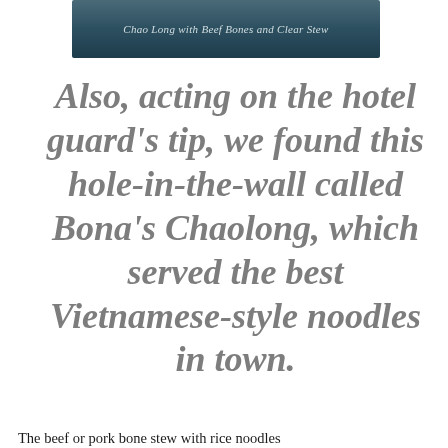Chao Long with Beef Bones and Clear Stew
Also, acting on the hotel guard's tip, we found this hole-in-the-wall called Bona's Chaolong, which served the best Vietnamese-style noodles in town.
The beef or pork bone stew with rice noodles